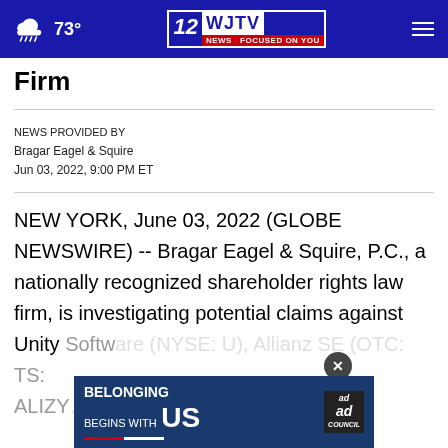73° | WJTV NEWS FOCUSED ON YOU
Firm
NEWS PROVIDED BY
Bragar Eagel & Squire
Jun 03, 2022, 9:00 PM ET
NEW YORK, June 03, 2022 (GLOBE NEWSWIRE) -- Bragar Eagel & Squire, P.C., a nationally recognized shareholder rights law firm, is investigating potential claims against Unity Software (NYSE: U), Allianz SE (OTC: ALIZY),
[Figure (advertisement): Ad Council advertisement: BELONGING BEGINS WITH US]